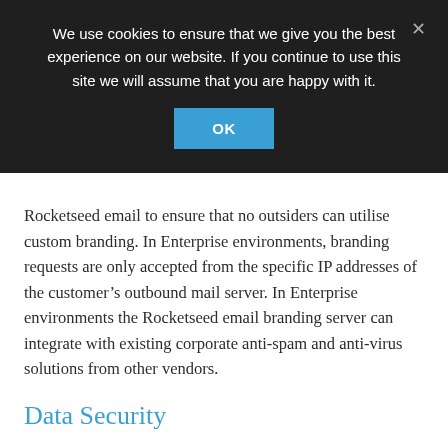We use cookies to ensure that we give you the best experience on our website. If you continue to use this site we will assume that you are happy with it.
OK
Rocketseed email to ensure that no outsiders can utilise custom branding. In Enterprise environments, branding requests are only accepted from the specific IP addresses of the customer's outbound mail server. In Enterprise environments the Rocketseed email branding server can integrate with existing corporate anti-spam and anti-virus solutions from other vendors.
Data Security
Rocketseed email branding servers are normally configured in redundant pairs to ensure fault-free